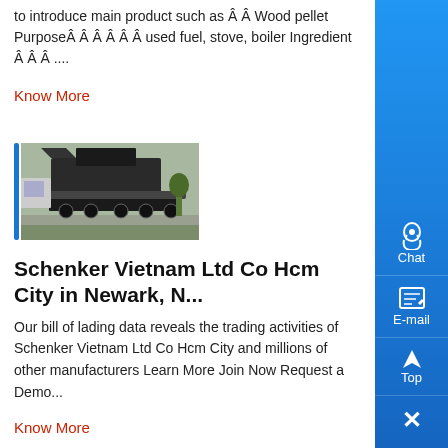to introduce main product such as Â Â Wood pellet PurposeÂ Â Â Â Â Â used fuel, stove, boiler Ingredient Â Â Â ....
Know More
[Figure (photo): Industrial mobile crushing/screening machine on a truck trailer, parked outdoors on a paved surface with grass visible.]
Schenker Vietnam Ltd Co Hcm City in Newark, N...
Our bill of lading data reveals the trading activities of Schenker Vietnam Ltd Co Hcm City and millions of other manufacturers Learn More Join Now Request a Demo...
Know More